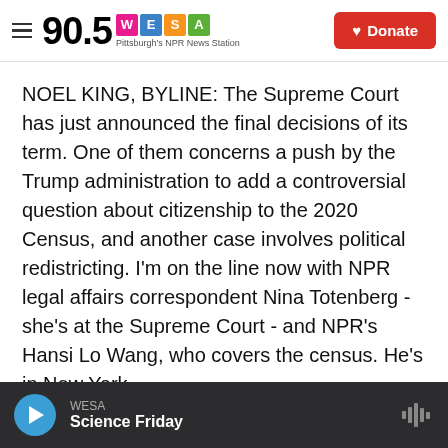90.5 WESA Pittsburgh's NPR News Station
NOEL KING, BYLINE: The Supreme Court has just announced the final decisions of its term. One of them concerns a push by the Trump administration to add a controversial question about citizenship to the 2020 Census, and another case involves political redistricting. I'm on the line now with NPR legal affairs correspondent Nina Totenberg - she's at the Supreme Court - and NPR's Hansi Lo Wang, who covers the census. He's in New York.
Good morning to you both.
WESA Science Friday